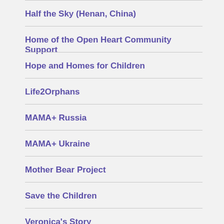Half the Sky (Henan, China)
Home of the Open Heart Community Support
Hope and Homes for Children
Life2Orphans
MAMA+ Russia
MAMA+ Ukraine
Mother Bear Project
Save the Children
Veronica's Story